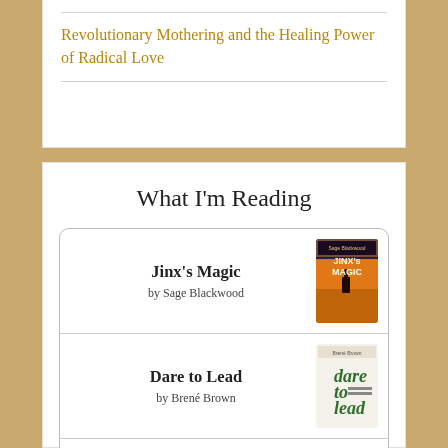Revolutionary Mothering and the Healing Power of Radical Love
What I'm Reading
Jinx's Magic by Sage Blackwood
Dare to Lead by Brené Brown
The Folding Star: and Other Rooms